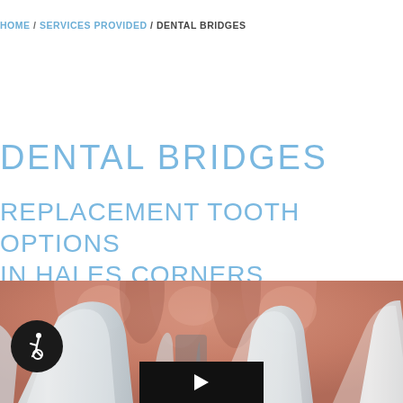HOME / SERVICES PROVIDED / DENTAL BRIDGES
DENTAL BRIDGES
REPLACEMENT TOOTH OPTIONS IN HALES CORNERS
[Figure (illustration): 3D dental illustration showing a close-up view of gums and teeth, depicting a gap between teeth where a dental bridge would be placed. View is from below, showing the gum tissue in pinkish-tan tones and white tooth crowns on either side of a gap.]